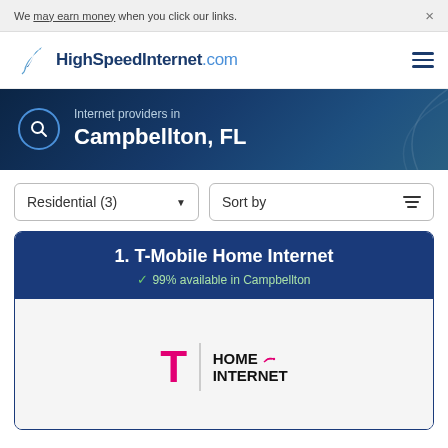We may earn money when you click our links.
[Figure (logo): HighSpeedInternet.com logo with heron bird icon]
Internet providers in Campbellton, FL
Residential (3)
Sort by
1. T-Mobile Home Internet
✓ 99% available in Campbellton
[Figure (logo): T-Mobile Home Internet logo with magenta T and HOME INTERNET text]